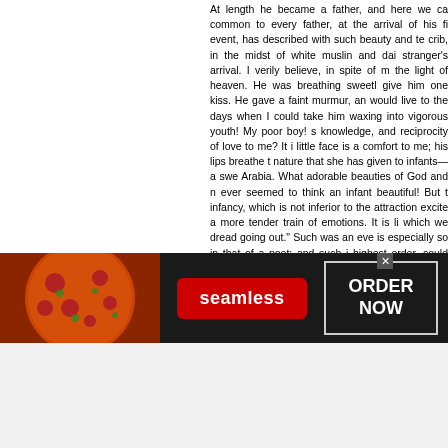At length he became a father, and here we ca common to every father, at the arrival of his fi event, has described with such beauty and te crib, in the midst of white muslin and dai stranger's arrival. I verily believe, in spite of m the light of heaven. He was breathing sweetl give him one kiss. He gave a faint murmur, an would live to the days when I could take him waxing into vigorous youth! My poor boy! s knowledge, and reciprocity of love to me? It i little face is a comfort to me; his lips breathe t nature that she has given to infants—a swe Arabia. What adorable beauties of God and n ever seemed to think an infant beautiful! But t infancy, which is not inferior to the attraction excite a more tender train of emotions. It is li which we dread going out." Such was an eve is especially so in that of a poet; and such i highest order, could have so embodied. To ou highest rank of Campbell's poetical production
A happiness like this was not to be enjoyed w this period, the income of the poet for the sup
[Figure (screenshot): Advertisement banner for Seamless food delivery service. Dark background with pizza image on left, red 'seamless' logo badge in center, and 'ORDER NOW' button in white text on right with a close button (x) at top.]